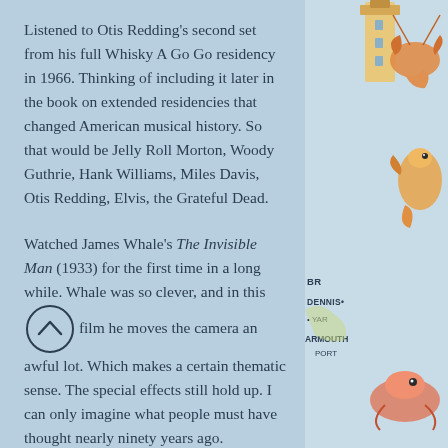Listened to Otis Redding's second set from his full Whisky A Go Go residency in 1966. Thinking of including it later in the book on extended residencies that changed American musical history. So that would be Jelly Roll Morton, Woody Guthrie, Hank Williams, Miles Davis, Otis Redding, Elvis, the Grateful Dead.
Watched James Whale's The Invisible Man (1933) for the first time in a long while. Whale was so clever, and in this film he moves the camera an awful lot. Which makes a certain thematic sense. The special effects still hold up. I can only imagine what people must have thought nearly ninety years ago.
[Figure (illustration): Partial view of a vintage illustrated map showing coastal area with place names including DENNIS, YARMOUTH PORT, and decorative sea creatures/figures. Colors are warm oranges, yellows, and greens on a blue background.]